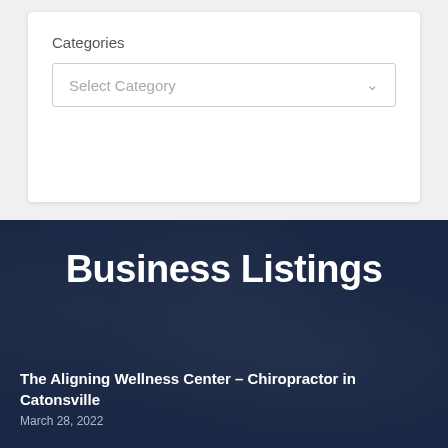Categories
Select Category
Business Listings
The Aligning Wellness Center – Chiropractor in Catonsville
March 28, 2022